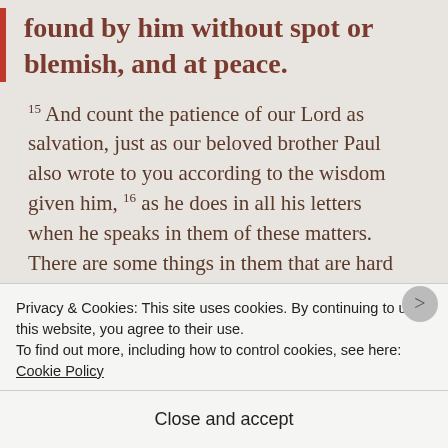found by him without spot or blemish, and at peace.
15 And count the patience of our Lord as salvation, just as our beloved brother Paul also wrote to you according to the wisdom given him, 16 as he does in all his letters when he speaks in them of these matters. There are some things in them that are hard to understand, which the ignorant and unstable twist to their own destruction, as they do the other Scriptures. 17 You therefore, beloved, knowing this beforehand, take care that you are
Privacy & Cookies: This site uses cookies. By continuing to use this website, you agree to their use.
To find out more, including how to control cookies, see here: Cookie Policy
Close and accept